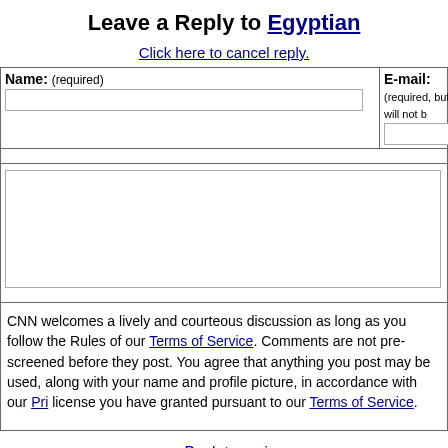Leave a Reply to Egyptian
Click here to cancel reply.
| Name: (required) | E-mail: (required, but will not be published) |
| --- | --- |
|  |
CNN welcomes a lively and courteous discussion as long as you follow the Rules of our Terms of Service. Comments are not pre-screened before they post. You agree that anything you post may be used, along with your name and profile picture, in accordance with our Privacy Policy and the license you have granted pursuant to our Terms of Service.
« Back to main
« previous post
next post »
Showtimes
Monday – Friday: